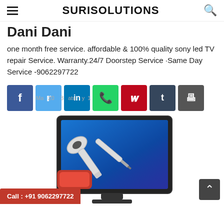SURISOLUTIONS
Dani Dani
one month free service. affordable & 100% quality sony led TV repair Service. Warranty.24/7 Doorstep Service ·Same Day Service -9062297722
[Figure (other): Social media share buttons: Facebook, Twitter, LinkedIn, WhatsApp, Pinterest, Tumblr, Print]
[Figure (illustration): TV repair illustration showing a flat-screen TV with wrench and screwdriver tools]
Call : +91 9062297722